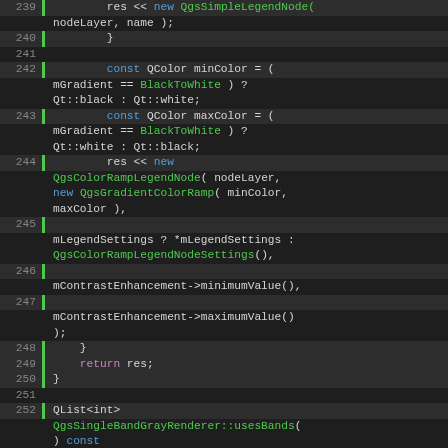[Figure (screenshot): Source code screenshot showing C++ code for QgsSingleBandGrayRenderer, lines 239-258, with syntax highlighting on a dark background. Green function/type names, blue keywords, orange control flow keywords, gray line numbers, and a green vertical bar on highlighted lines.]